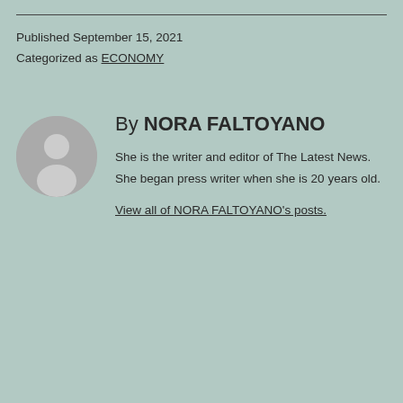Published September 15, 2021
Categorized as ECONOMY
[Figure (illustration): Circular avatar placeholder showing a generic person silhouette in gray]
By NORA FALTOYANO
She is the writer and editor of The Latest News. She began press writer when she is 20 years old.
View all of NORA FALTOYANO's posts.